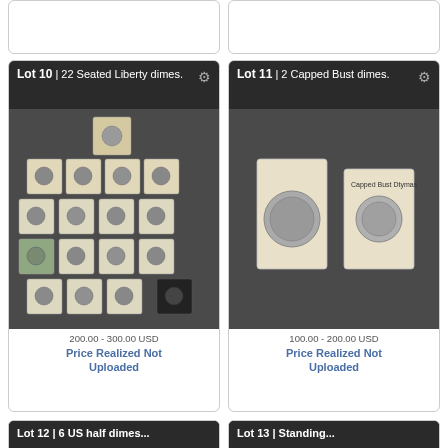[Figure (photo): Top partial lot card (cropped, top of page) - left card, content not visible]
[Figure (photo): Top partial lot card (cropped, top of page) - right card, content not visible]
Lot 10 | 22 Seated Liberty dimes.
[Figure (photo): Photo of 22 Seated Liberty dimes in individual cardboard coin holders arranged on a dark surface]
200.00 - 300.00 USD
Price Realized Not Uploaded
Lot 11 | 2 Capped Bust dimes.
[Figure (photo): Photo of 2 Capped Bust dimes in cardboard coin holders on a dark surface]
100.00 - 200.00 USD
Price Realized Not Uploaded
Lot 12 | 6 US half dimes...
Lot 13 | Standing...